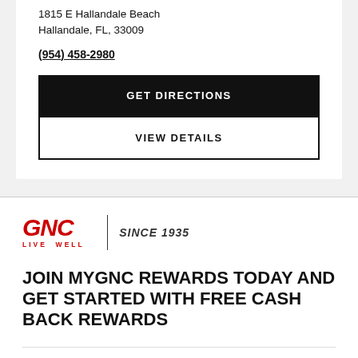1815 E Hallandale Beach
Hallandale, FL, 33009
(954) 458-2980
GET DIRECTIONS
VIEW DETAILS
[Figure (logo): GNC Live Well logo with 'SINCE 1935' text]
JOIN MYGNC REWARDS TODAY AND GET STARTED WITH FREE CASH BACK REWARDS
Account